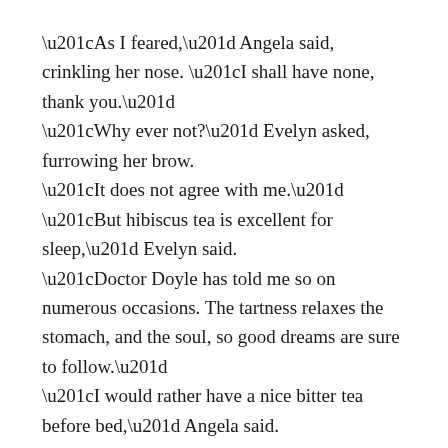“As I feared,” Angela said, crinkling her nose. “I shall have none, thank you.” “Why ever not?” Evelyn asked, furrowing her brow. “It does not agree with me.” “But hibiscus tea is excellent for sleep,” Evelyn said. “Doctor Doyle has told me so on numerous occasions. The tartness relaxes the stomach, and the soul, so good dreams are sure to follow.” “I would rather have a nice bitter tea before bed,” Angela said. “Whenever I drink hibiscus I am reminded of heathens bending their knees and backs in a temple to some obscene goddess.” She clucked with agitation. “Indeed, now I know if I drink it I shall have dreams about just such a foul creature.” “Mother enjoyed hibiscus tea,” Evelyn said, stealing a